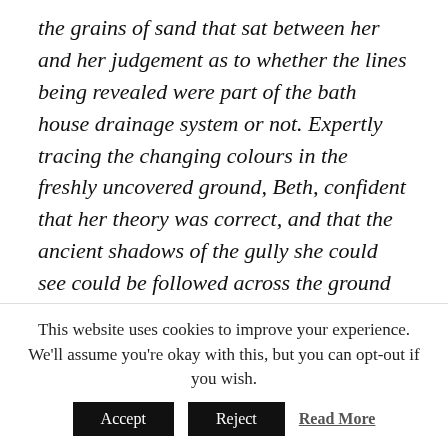the grains of sand that sat between her and her judgement as to whether the lines being revealed were part of the bath house drainage system or not. Expertly tracing the changing colours in the freshly uncovered ground, Beth, confident that her theory was correct, and that the ancient shadows of the gully she could see could be followed across the ground with ease, readopted her technique to deviate her attention from the cruel climate, while her fingers worked the earth.

What exactly is Ryan offering? she wondered. A sneaky
This website uses cookies to improve your experience. We'll assume you're okay with this, but you can opt-out if you wish.
Accept   Reject   Read More